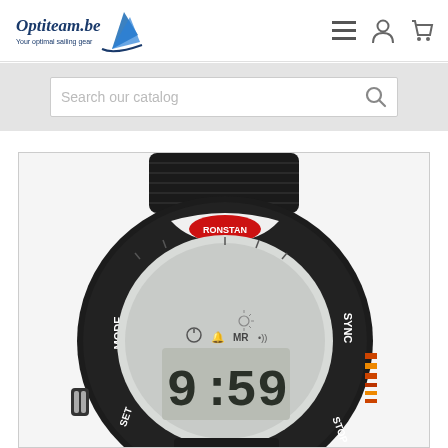[Figure (logo): Optiteam.be logo with sailing boat graphic and tagline 'Your optimal sailing gear']
[Figure (screenshot): Navigation icons: hamburger menu, user account, shopping cart]
Search our catalog
[Figure (photo): Close-up photo of a Ronstan digital sailing watch with black strap, displaying 9:59 on screen, with MODE, SET, SYNC and STOP buttons visible on the case]